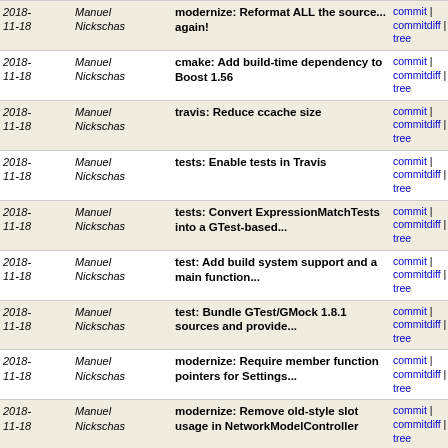| Date | Author | Message | Links |
| --- | --- | --- | --- |
| 2018-11-18 | Manuel Nickschas | modernize: Reformat ALL the source... again! | commit | commitdiff | tree |
| 2018-11-18 | Manuel Nickschas | cmake: Add build-time dependency to Boost 1.56 | commit | commitdiff | tree |
| 2018-11-18 | Manuel Nickschas | travis: Reduce ccache size | commit | commitdiff | tree |
| 2018-11-18 | Manuel Nickschas | tests: Enable tests in Travis | commit | commitdiff | tree |
| 2018-11-18 | Manuel Nickschas | tests: Convert ExpressionMatchTests into a GTest-based... | commit | commitdiff | tree |
| 2018-11-18 | Manuel Nickschas | test: Add build system support and a main function... | commit | commitdiff | tree |
| 2018-11-18 | Manuel Nickschas | test: Bundle GTest/GMock 1.8.1 sources and provide... | commit | commitdiff | tree |
| 2018-11-18 | Manuel Nickschas | modernize: Require member function pointers for Settings... | commit | commitdiff | tree |
| 2018-11-18 | Manuel Nickschas | modernize: Remove old-style slot usage in NetworkModelController | commit | commitdiff | tree |
| 2018-11-18 | Manuel Nickschas | modernize: Don't use apparent connect-by-name slots... | commit | commitdiff | tree |
| 2018-11-18 | Manuel Nickschas | modernize: Migrate action-related things to PMF connects | commit | commitdiff | tree |
| 2018-11-18 | Manuel Nickschas | uisupport: Provide helpers for dealing with widget... | commit | commitdiff | tree |
| 2018- | Manuel | common: Provide helper for | commit | commitdiff |